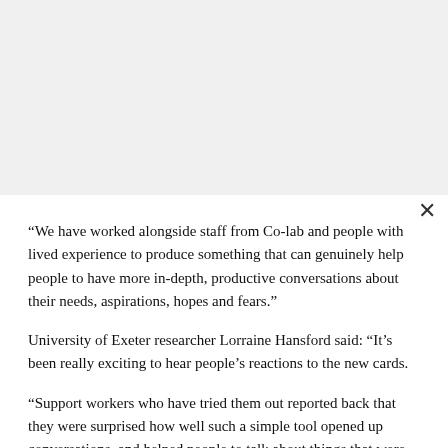“We have worked alongside staff from Co-lab and people with lived experience to produce something that can genuinely help people to have more in-depth, productive conversations about their needs, aspirations, hopes and fears.”
University of Exeter researcher Lorraine Hansford said: “It’s been really exciting to hear people’s reactions to the new cards.
“Support workers who have tried them out reported back that they were surprised how well such a simple tool opened up conversations, and helped people to talk about things that were important to them that they hadn’t raised before.”
The project was a partnership between researchers from the University of Exeter (Catherine Leyshon and Shukru Esmene from the Social Innovation Group, and Lorraine Hansford from